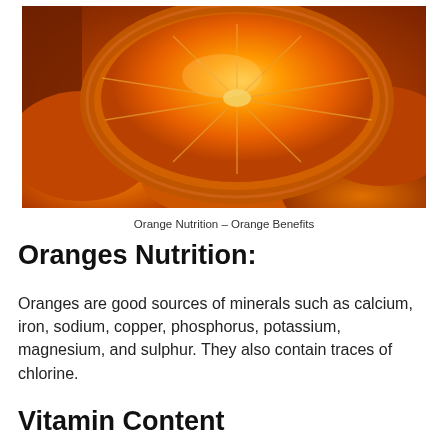[Figure (photo): Close-up photograph of sliced oranges, showing a halved orange facing up with vibrant orange flesh and rind, surrounded by other orange slices, all in warm red-orange tones.]
Orange Nutrition – Orange Benefits
Oranges Nutrition:
Oranges are good sources of minerals such as calcium, iron, sodium, copper, phosphorus, potassium, magnesium, and sulphur. They also contain traces of chlorine.
Vitamin Content